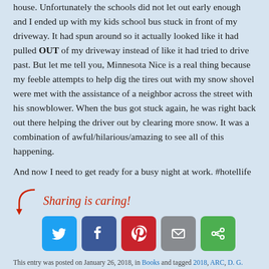house. Unfortunately the schools did not let out early enough and I ended up with my kids school bus stuck in front of my driveway. It had spun around so it actually looked like it had pulled OUT of my driveway instead of like it had tried to drive past. But let me tell you, Minnesota Nice is a real thing because my feeble attempts to help dig the tires out with my snow shovel were met with the assistance of a neighbor across the street with his snowblower. When the bus got stuck again, he was right back out there helping the driver out by clearing more snow. It was a combination of awful/hilarious/amazing to see all of this happening.
And now I need to get ready for a busy night at work. #hotellife
[Figure (infographic): Sharing is caring! social share buttons for Twitter, Facebook, Pinterest, Email, and a sharing service]
This entry was posted on January 26, 2018, in Books and tagged 2018, ARC, D. G. Driver, Fairy Tale, KU, Princess, The Royal Deal.
4 Comments